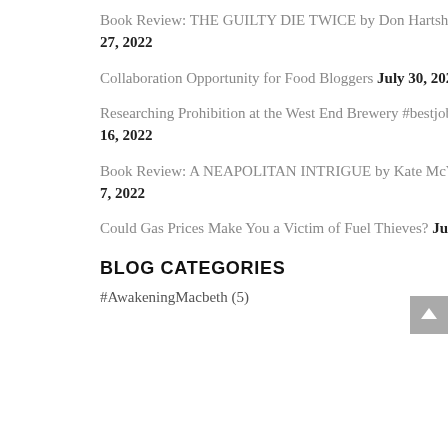Book Review: THE GUILTY DIE TWICE by Don Hartshorn August 27, 2022
Collaboration Opportunity for Food Bloggers July 30, 2022
Researching Prohibition at the West End Brewery #bestjobever July 16, 2022
Book Review: A NEAPOLITAN INTRIGUE by Kate McVaugh July 7, 2022
Could Gas Prices Make You a Victim of Fuel Thieves? June 14, 2022
BLOG CATEGORIES
#AwakeningMacbeth (5)